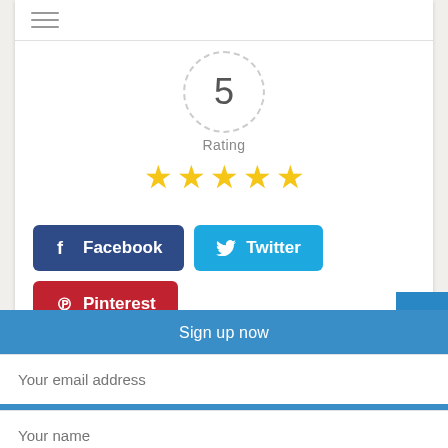[Figure (screenshot): Hamburger menu icon (three horizontal lines) in a header bar]
[Figure (infographic): Rating circle showing number 5 with dashed border, label 'Rating' below, and 5 gold stars]
[Figure (infographic): Social share buttons: Facebook (dark blue), Twitter (light blue), Pinterest (red)]
Sign up now
Your email address
Your name
SUBSCRIBE